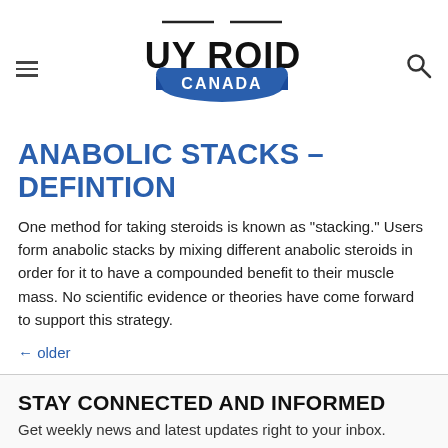BUY ROIDS CANADA (logo/navigation bar)
ANABOLIC STACKS – DEFINTION
One method for taking steroids is known as "stacking." Users form anabolic stacks by mixing different anabolic steroids in order for it to have a compounded benefit to their muscle mass. No scientific evidence or theories have come forward to support this strategy.
← older
STAY CONNECTED AND INFORMED
Get weekly news and latest updates right to your inbox.